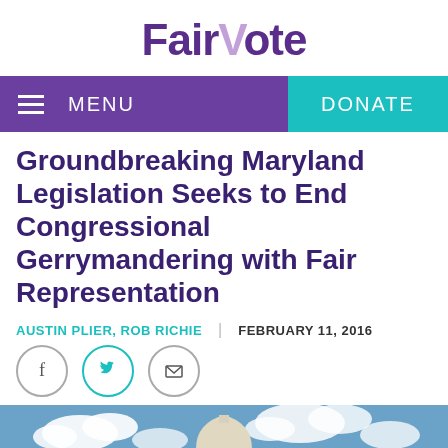FairVote
MENU   DONATE
Groundbreaking Maryland Legislation Seeks to End Congressional Gerrymandering with Fair Representation
AUSTIN PLIER, ROB RICHIE | FEBRUARY 11, 2016
[Figure (photo): Photo of the United States Capitol building with blue sky and clouds in the background]